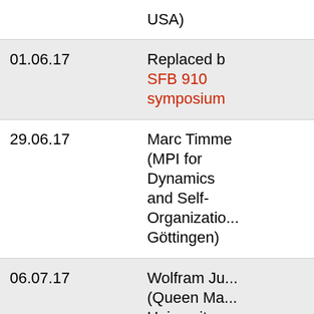| Date | Speaker |
| --- | --- |
|  | USA) |
| 01.06.17 | Replaced by SFB 910 symposium |
| 29.06.17 | Marc Timme (MPI for Dynamics and Self-Organization, Göttingen) |
| 06.07.17 | Wolfram Ju... (Queen Ma... University of London, UK... |
| 14.07.17 (Friday) | Wolf-Christian Müller |